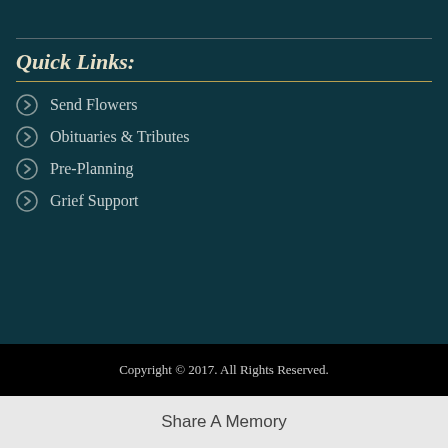Quick Links:
Send Flowers
Obituaries & Tributes
Pre-Planning
Grief Support
Copyright © 2017. All Rights Reserved.
Share A Memory